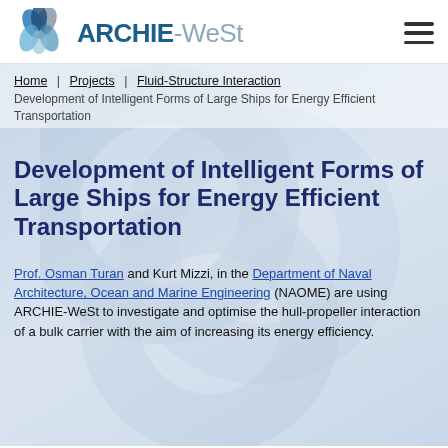[Figure (logo): ARCHIE-WeSt logo with overlapping blue/grey/teal petal shapes above the text 'ARCHIE-WeSt']
Home  Projects  Fluid-Structure Interaction
Development of Intelligent Forms of Large Ships for Energy Efficient Transportation
Development of Intelligent Forms of Large Ships for Energy Efficient Transportation
Prof. Osman Turan and Kurt Mizzi, in the Department of Naval Architecture, Ocean and Marine Engineering (NAOME) are using ARCHIE-WeSt to investigate and optimise the hull-propeller interaction of a bulk carrier with the aim of increasing its energy efficiency.